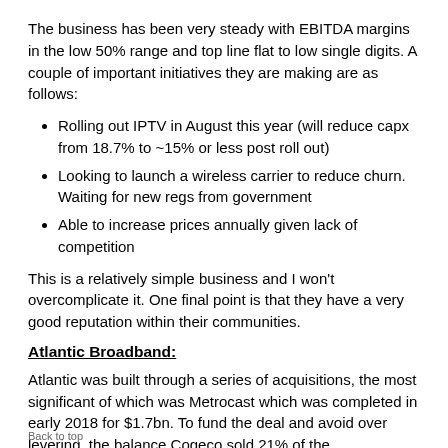The business has been very steady with EBITDA margins in the low 50% range and top line flat to low single digits. A couple of important initiatives they are making are as follows:
Rolling out IPTV in August this year (will reduce capx from 18.7% to ~15% or less post roll out)
Looking to launch a wireless carrier to reduce churn. Waiting for new regs from government
Able to increase prices annually given lack of competition
This is a relatively simple business and I won't overcomplicate it. One final point is that they have a very good reputation within their communities.
Atlantic Broadband:
Atlantic was built through a series of acquisitions, the most significant of which was Metrocast which was completed in early 2018 for $1.7bn. To fund the deal and avoid over levering, the balance Cogeco sold 21% of the
Back to top